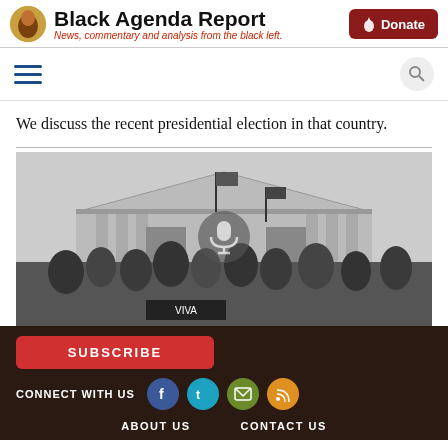Black Agenda Report — News, commentary and analysis from the black left.
We discuss the recent presidential election in that country.
[Figure (photo): Black and white historical photograph showing a crowd of people celebrating on a vehicle in front of a large neoclassical government building, waving flags, with a microphone icon overlay in the center.]
SUBSCRIBE | CONNECT WITH US | ABOUT US | CONTACT US